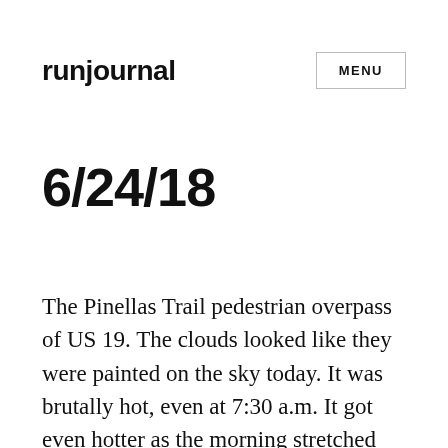runjournal    MENU
6/24/18
The Pinellas Trail pedestrian overpass of US 19. The clouds looked like they were painted on the sky today. It was brutally hot, even at 7:30 a.m. It got even hotter as the morning stretched on. I am convinced it makes no difference whatsoever what time I go out, it will invariably be so hot it is almost unbearable